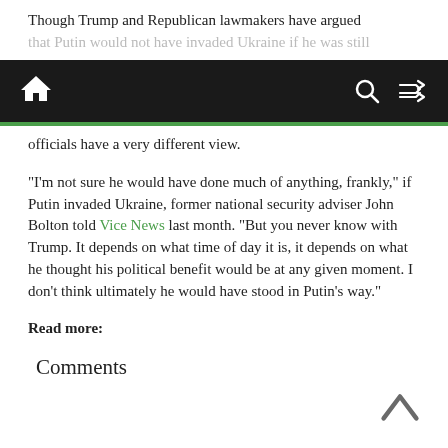Though Trump and Republican lawmakers have argued that Putin would not have invaded Ukraine if he was still
[Navigation bar with home, search, and shuffle icons]
officials have a very different view.
“I’m not sure he would have done much of anything, frankly,” if Putin invaded Ukraine, former national security adviser John Bolton told Vice News last month. “But you never know with Trump. It depends on what time of day it is, it depends on what he thought his political benefit would be at any given moment. I don’t think ultimately he would have stood in Putin’s way.”
Read more:
Comments